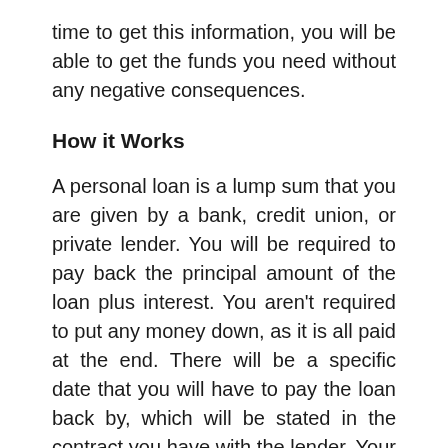time to get this information, you will be able to get the funds you need without any negative consequences.
How it Works
A personal loan is a lump sum that you are given by a bank, credit union, or private lender. You will be required to pay back the principal amount of the loan plus interest. You aren’t required to put any money down, as it is all paid at the end. There will be a specific date that you will have to pay the loan back by, which will be stated in the contract you have with the lender. Your interest rate could anywhere from 3 percent to north of 10 percent, depending on what your credit is like. Not everyone gets